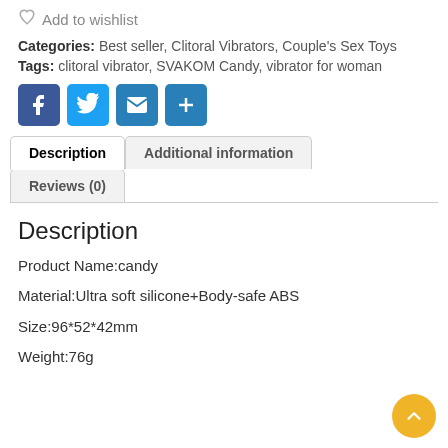Add to wishlist
Categories: Best seller, Clitoral Vibrators, Couple's Sex Toys Tags: clitoral vibrator, SVAKOM Candy, vibrator for woman
[Figure (other): Social share buttons: Facebook (blue), Twitter (blue), Email (blue), Plus/More (blue)]
Description | Additional information | Reviews (0) tabs
Description
Product Name:candy
Material:Ultra soft silicone+Body-safe ABS
Size:96*52*42mm
Weight:76g